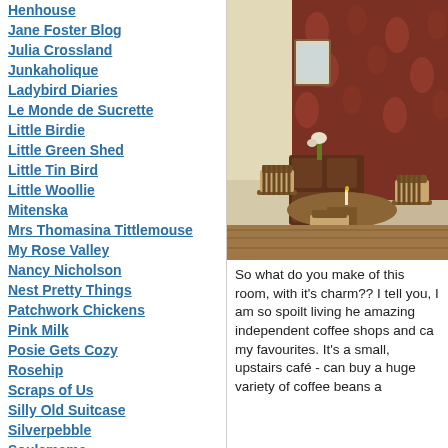Henhouse
Jane Foster Blog
Julia Crossland
Junkaholique
Ladybird Diaries
Le Monde de Sucrette
Little Birdie
Little Green Shed
Little Tin Bird
Little Woollie
Mitenska
Mrs Thomasina Tittlemouse
My Rose Valley
Nancy Nicholson
Nest Pretty Things
Patchwork Chickens
Pink Milk
Posie Gets Cozy
Rosehip
Scraps of Us
Silly Old Suitcase
Silverpebble
Soulemama
Tales From A Happy House.
Tangled Happy
Teawagon Tales
Teresa Kasner
[Figure (photo): Interior of a cozy cafe or dining room with wooden chairs around a round table, ornate William Morris style wallpaper in dark red/brown with floral patterns covering the wall, a small framed picture on the wall, a dresser or sideboard in the background with flowers on top, and warm natural light coming through a window.]
So what do you make of this room, with it's charm?? I tell you, I am so spoilt living he amazing independent coffee shops and ca my favourites. It's a small, upstairs café - can buy a huge variety of coffee beans a